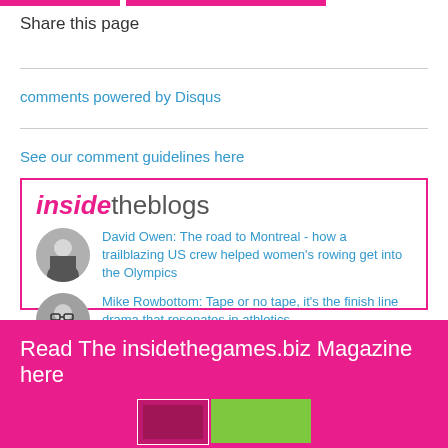Share this page
comments powered by Disqus
See our comment guidelines here
[Figure (other): insidetheblogs widget box with two blog posts by David Owen and Mike Rowbottom, and a More blogs link]
Read The insidethegames.biz Magazine here